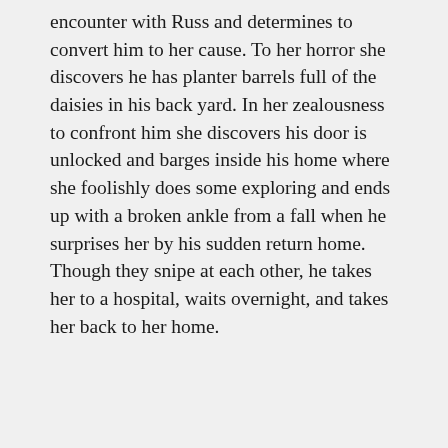encounter with Russ and determines to convert him to her cause. To her horror she discovers he has planter barrels full of the daisies in his back yard. In her zealousness to confront him she discovers his door is unlocked and barges inside his home where she foolishly does some exploring and ends up with a broken ankle from a fall when he surprises her by his sudden return home. Though they snipe at each other, he takes her to a hospital, waits overnight, and takes her back to her home.